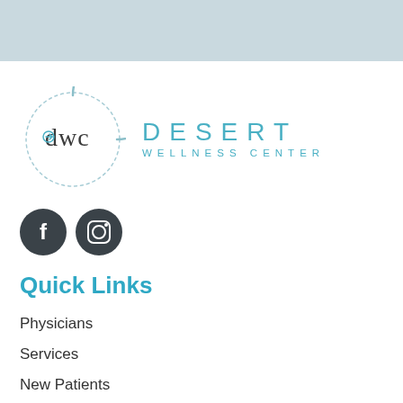[Figure (logo): Desert Wellness Center logo with DWC circular emblem and teal text]
[Figure (illustration): Social media icons: Facebook and Instagram, dark circular buttons]
Quick Links
Physicians
Services
New Patients